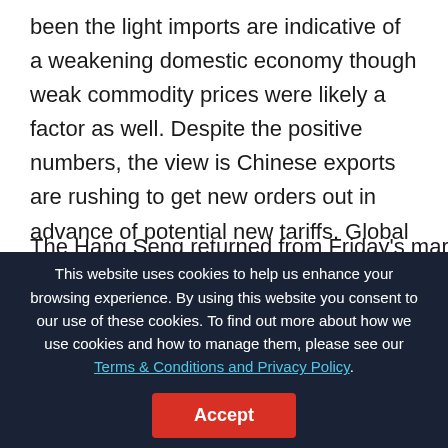been the light imports are indicative of a weakening domestic economy though weak commodity prices were likely a factor as well. Despite the positive numbers, the view is Chinese exports are rushing to get new orders out in advance of potential new tariffs. Global PMIs have weakened over the last month as the trade war is likely have an impact on the global economy.
The Hang Seng returned from Friday's market holiday and
This website uses cookies to help us enhance your browsing experience. By using this website you consent to our use of these cookies. To find out more about how we use cookies and how to manage them, please see our Terms & Conditions and Privacy Policy.